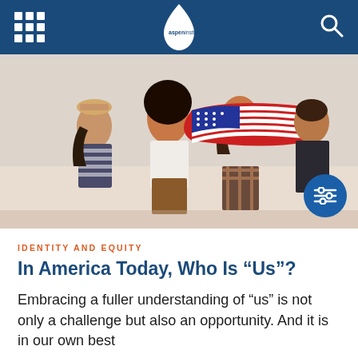Aspen Institute
[Figure (photo): Four young people seen from behind holding an American flag that waves behind them, walking together outdoors against a light sky background.]
IDENTITY AND EQUITY
In America Today, Who Is “Us”?
Embracing a fuller understanding of “us” is not only a challenge but also an opportunity. And it is in our own best